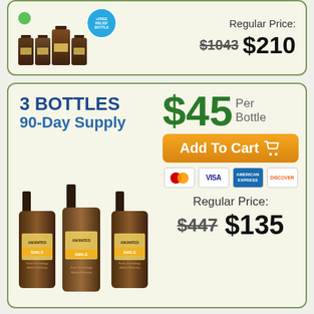[Figure (photo): Product bottles with free relief bottle badge and green checkmark]
Regular Price:
$1043 $210
3 BOTTLES 90-Day Supply
$45 Per Bottle
Add To Cart
[Figure (infographic): Payment icons: Mastercard, Visa, American Express, Discover]
Regular Price:
$447 $135
[Figure (photo): Three Anointed Smile amber bottles with pump dispensers]